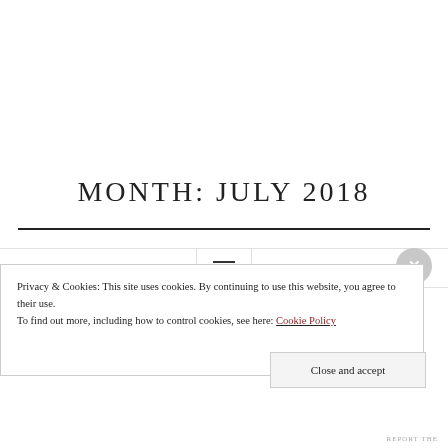[Figure (other): Navigation bar with hamburger menu icon (three horizontal lines)]
MONTH: JULY 2018
Privacy & Cookies: This site uses cookies. By continuing to use this website, you agree to their use.
To find out more, including how to control cookies, see here: Cookie Policy
Close and accept